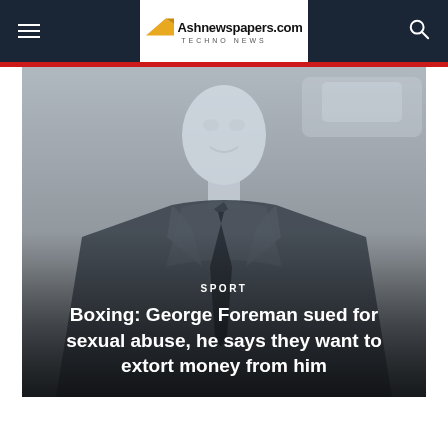Ashnewspapers.com — TECHNO NEWS
[Figure (photo): Faded/desaturated photo of a man in a dark suit and tie, seen from the torso up, slightly out of focus. Gray gradient background.]
SPORT
Boxing: George Foreman sued for sexual abuse, he says they want to extort money from him